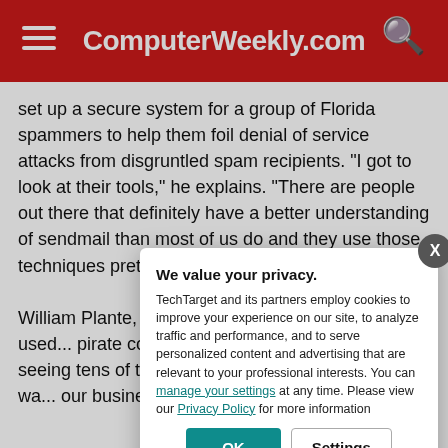ComputerWeekly.com
set up a secure system for a group of Florida spammers to help them foil denial of service attacks from disgruntled spam recipients. "I got to look at their tools," he explains. "There are people out there that definitely have a better understanding of sendmail than most of us do and they use those techniques pretty well."
William Plante, d... brand protection... techniques used... pirate copies of b... openly via spam... seeing tens of th... says, adding tha... by Symantec wa... our business, an...
We value your privacy.
TechTarget and its partners employ cookies to improve your experience on our site, to analyze traffic and performance, and to serve personalized content and advertising that are relevant to your professional interests. You can manage your settings at any time. Please view our Privacy Policy for more information